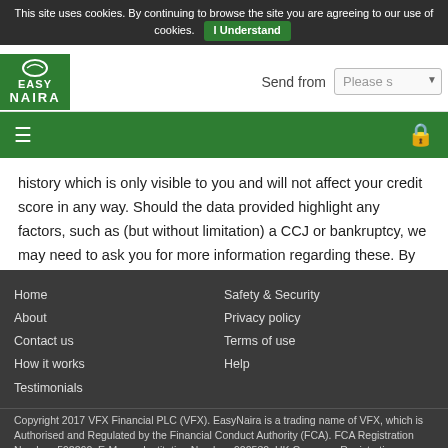This site uses cookies. By continuing to browse the site you are agreeing to our use of cookies. I Understand
[Figure (logo): EasyNaira logo - green square with EASY NAIRA text in white]
Send from   Please s▼
[Figure (screenshot): Green navigation bar with hamburger menu (three lines) on left and lock icon on right]
history which is only visible to you and will not affect your credit score in any way. Should the data provided highlight any factors, such as (but without limitation) a CCJ or bankruptcy, we may need to ask you for more information regarding these. By signing these terms and conditions of business you agree that we may request this personal data and make such additional enquiries.
Home
About
Contact us
How it works
Testimonials
Safety & Security
Privacy policy
Terms of use
Help
Copyright 2017 VFX Financial PLC (VFX). EasyNaira is a trading name of VFX, which is Authorised and Regulated by the Financial Conduct Authority (FCA). FCA Registration Number: 592260. E-Money Institution Number: 900530. UK Company Registration Number: 06589361